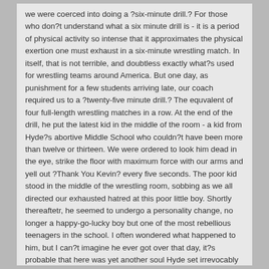we were coerced into doing a ?six-minute drill.? For those who don?t understand what a six minute drill is - it is a period of physical activity so intense that it approximates the physical exertion one must exhaust in a six-minute wrestling match. In itself, that is not terrible, and doubtless exactly what?s used for wrestling teams around America. But one day, as punishment for a few students arriving late, our coach required us to a ?twenty-five minute drill.? The equvalent of four full-length wrestling matches in a row. At the end of the drill, he put the latest kid in the middle of the room - a kid from Hyde?s abortive Middle School who couldn?t have been more than twelve or thirteen. We were ordered to look him dead in the eye, strike the floor with maximum force with our arms and yell out ?Thank You Kevin? every five seconds. The poor kid stood in the middle of the wrestling room, sobbing as we all directed our exhausted hatred at this poor little boy. Shortly thereaftetr, he seemed to undergo a personality change, no longer a happy-go-lucky boy but one of the most rebellious teenagers in the school. I often wondered what happened to him, but I can?t imagine he ever got over that day, it?s probable that here was yet another soul Hyde set irrevocably on a poisonous path.
One of their favorite exercises was what they called the ?